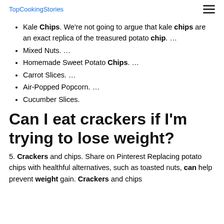TopCookingStories
Kale Chips. We're not going to argue that kale chips are an exact replica of the treasured potato chip. …
Mixed Nuts. …
Homemade Sweet Potato Chips. …
Carrot Slices. …
Air-Popped Popcorn. …
Cucumber Slices.
Can I eat crackers if I'm trying to lose weight?
5. Crackers and chips. Share on Pinterest Replacing potato chips with healthful alternatives, such as toasted nuts, can help prevent weight gain. Crackers and chips